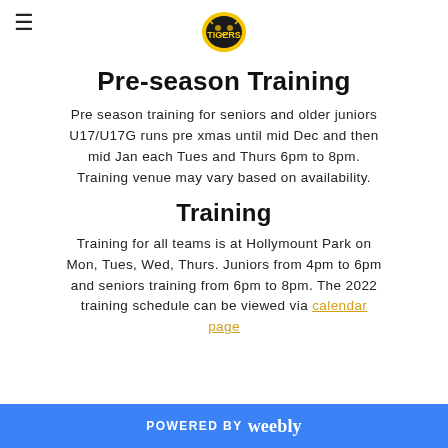Tigers logo / hamburger menu
Pre-season Training
Pre season training for seniors and older juniors U17/U17G runs pre xmas until mid Dec and then mid Jan each Tues and Thurs 6pm to 8pm. Training venue may vary based on availability.
Training
Training for all teams is at Hollymount Park on Mon, Tues, Wed, Thurs. Juniors from 4pm to 6pm and seniors training from 6pm to 8pm. The 2022 training schedule can be viewed via calendar page
POWERED BY weebly